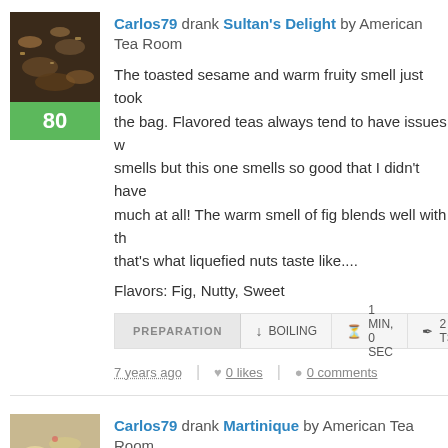Carlos79 drank Sultan's Delight by American Tea Room
The toasted sesame and warm fruity smell just took over the bag. Flavored teas always tend to have issues w smells but this one smells so good that I didn't have much at all! The warm smell of fig blends well with th that's what liquefied nuts taste like....
Flavors: Fig, Nutty, Sweet
PREPARATION  ↓ BOILING  ⊙ 1 MIN, 0 SEC  ✒2 TSP
7 years ago  |  ♥ 0 likes  |  ● 0 comments
Carlos79 drank Martinique by American Tea Room
I've always thought rooibos smells like cough syrup. floral and fruity smell makes it very relaxing. It's sur